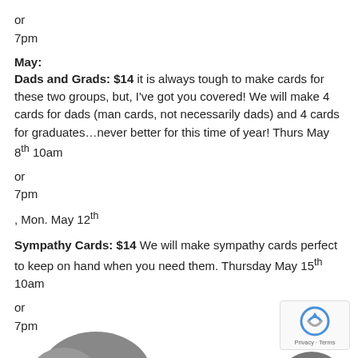or
7pm
May:
Dads and Grads: $14 it is always tough to make cards for these two groups, but, I've got you covered!  We will make 4 cards for dads (man cards, not necessarily dads) and 4 cards for graduates…never better  for this time of year!  Thurs May 8th 10am
or
7pm
, Mon. May 12th
Sympathy Cards: $14 We will make sympathy cards perfect to keep on hand when you need them.  Thursday May 15th 10am
or
7pm
[Figure (illustration): Partial silhouette of a decorative image visible at the bottom of the page]